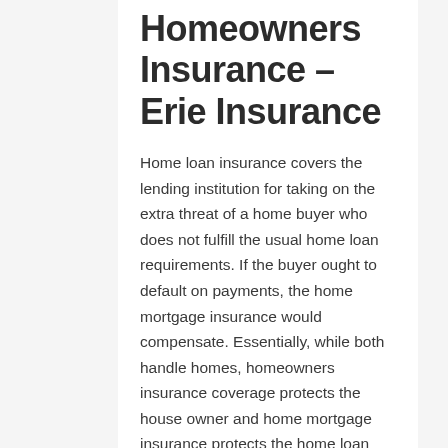Homeowners Insurance – Erie Insurance
Home loan insurance covers the lending institution for taking on the extra threat of a home buyer who does not fulfill the usual home loan requirements. If the buyer ought to default on payments, the home mortgage insurance would compensate. Essentially, while both handle homes, homeowners insurance coverage protects the house owner and home mortgage insurance protects the home loan loan provider.